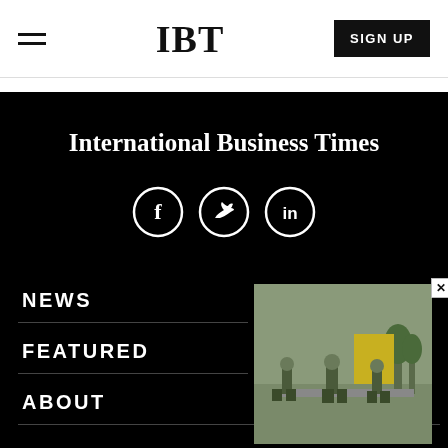IBT  SIGN UP
International Business Times
[Figure (illustration): Social media icons: Facebook (f), Twitter (bird), LinkedIn (in) in white circles on black background]
NEWS
FEATURED
ABOUT
[Figure (photo): IBT Top Articles overlay card showing soldiers walking on a road, with IBT badge and Top Articles label]